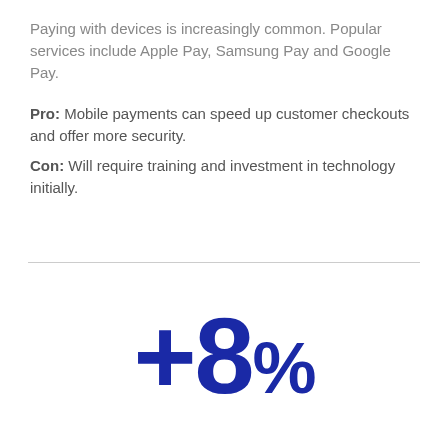Paying with devices is increasingly common. Popular services include Apple Pay, Samsung Pay and Google Pay.
Pro: Mobile payments can speed up customer checkouts and offer more security.
Con: Will require training and investment in technology initially.
[Figure (infographic): Large bold blue text displaying '+8%' statistic]